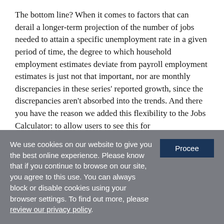The bottom line? When it comes to factors that can derail a longer-term projection of the number of jobs needed to attain a specific unemployment rate in a given period of time, the degree to which household employment estimates deviate from payroll employment estimates is just not that important, nor are monthly discrepancies in these series' reported growth, since the discrepancies aren't absorbed into the trends. And there you have the reason we added this flexibility to the Jobs Calculator: to allow users to see this for
We use cookies on our website to give you the best online experience. Please know that if you continue to browse on our site, you agree to this use. You can always block or disable cookies using your browser settings. To find out more, please review our privacy policy.